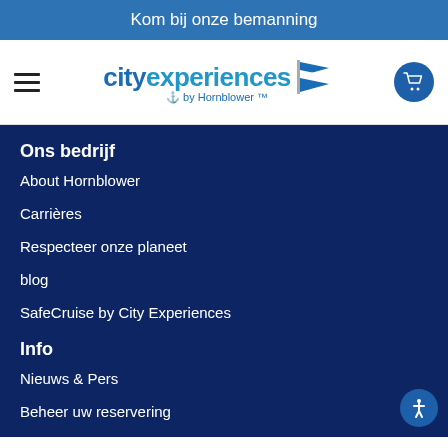Kom bij onze bemanning
[Figure (logo): City Experiences by Hornblower logo with flag icon]
Ons bedrijf
About Hornblower
Carrières
Respecteer onze planeet
blog
SafeCruise by City Experiences
Info
Nieuws & Pers
Beheer uw reservering
Reispartners
UK Information